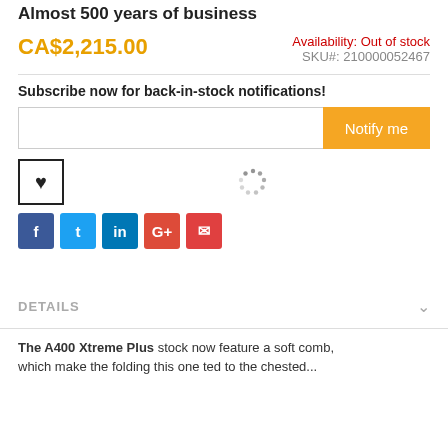Almost 500 years of business
CA$2,215.00
Availability: Out of stock
SKU#: 210000052467
Subscribe now for back-in-stock notifications!
Notify me
[Figure (other): Loading spinner (dotted circle)]
[Figure (other): Wishlist heart button and social share icons: Facebook, Twitter, LinkedIn, Google+, Email]
DETAILS
The A400 Xtreme Plus stock now feature a soft comb, which make the folding this one ted to the chested...